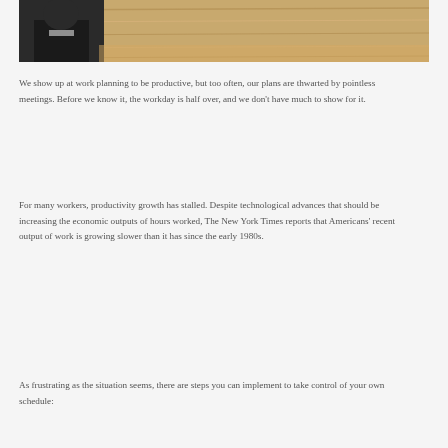[Figure (photo): A person sitting at a wooden desk, photo cropped at top of page]
We show up at work planning to be productive, but too often, our plans are thwarted by pointless meetings. Before we know it, the workday is half over, and we don't have much to show for it.
For many workers, productivity growth has stalled. Despite technological advances that should be increasing the economic outputs of hours worked, The New York Times reports that Americans' recent output of work is growing slower than it has since the early 1980s.
As frustrating as the situation seems, there are steps you can implement to take control of your own schedule: